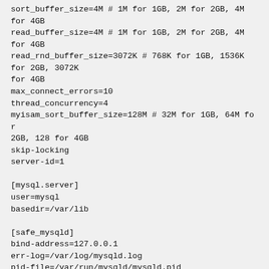sort_buffer_size=4M # 1M for 1GB, 2M for 2GB, 4M for 4GB
read_buffer_size=4M # 1M for 1GB, 2M for 2GB, 4M for 4GB
read_rnd_buffer_size=3072K # 768K for 1GB, 1536K for 2GB, 3072K for 4GB
max_connect_errors=10
thread_concurrency=4
myisam_sort_buffer_size=128M # 32M for 1GB, 64M for 2GB, 128 for 4GB
skip-locking
server-id=1

[mysql.server]
user=mysql
basedir=/var/lib

[safe_mysqld]
bind-address=127.0.0.1
err-log=/var/log/mysqld.log
pid-file=/var/run/mysqld/mysqld.pid
open_files_limit=8192
SAFE_MYSQLD_OPTIONS="-defaults-file=/etc/my.cnf -log-slow-queries=/var/log/slow-queries.log"

#[mysqldump]
#quick
#max_allowed_packet=16M

[mysql]
no-auto-rehash